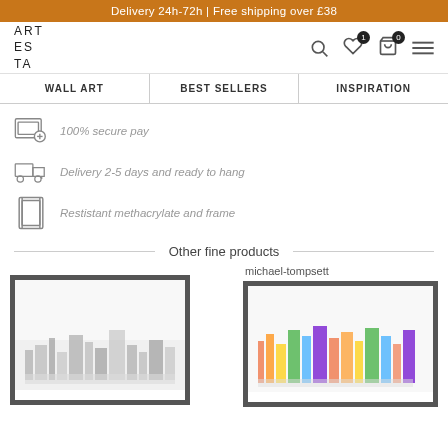Delivery 24h-72h | Free shipping over £38
[Figure (logo): ART ES TA logo in block letters]
WALL ART
BEST SELLERS
INSPIRATION
100% secure pay
Delivery 2-5 days and ready to hang
Restistant methacrylate and frame
Other fine products
michael-tompsett
[Figure (photo): Framed black and white city skyline art print]
[Figure (photo): Framed colorful city skyline art print by michael-tompsett]